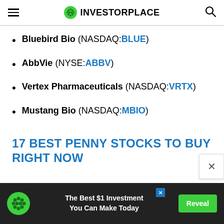InvestorPlace
Bluebird Bio (NASDAQ:BLUE)
AbbVie (NYSE:ABBV)
Vertex Pharmaceuticals (NASDAQ:VRTX)
Mustang Bio (NASDAQ:MBIO)
17 BEST PENNY STOCKS TO BUY RIGHT NOW
[Figure (screenshot): Advertisement banner at bottom: InvestorPlace logo, text 'The Best $1 Investment You Can Make Today', green Reveal button, dark background]